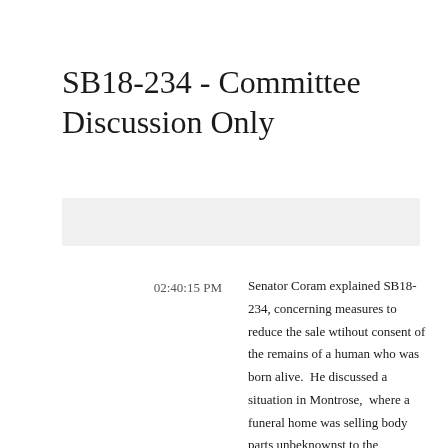SB18-234 - Committee Discussion Only
02:40:15 PM
Senator Coram explained SB18-234, concerning measures to reduce the sale wtihout consent of the remains of a human who was born alive.  He discussed a situation in Montrose,  where a funeral home was selling body parts unbeknownst to the deceased's loved ones,  and using concrete as cremains.  He emphasized that the bill is not intended to cut down on